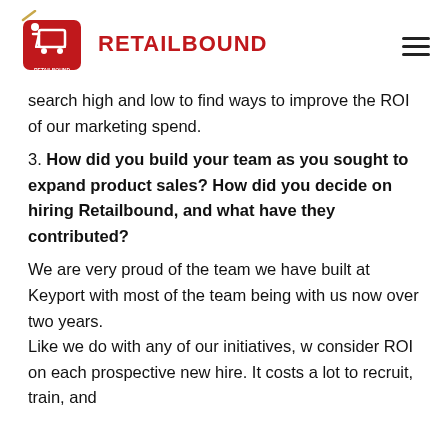RETAILBOUND
search high and low to find ways to improve the ROI of our marketing spend.
3. How did you build your team as you sought to expand product sales? How did you decide on hiring Retailbound, and what have they contributed?
We are very proud of the team we have built at Keyport with most of the team being with us now over two years.
Like we do with any of our initiatives, we consider ROI on each prospective new hire. It costs a lot to recruit, train, and